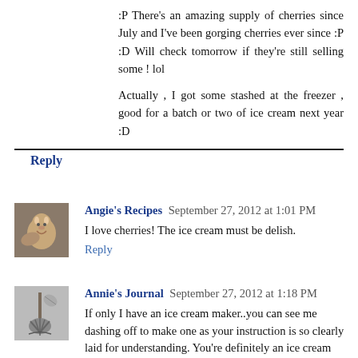:P There's an amazing supply of cherries since July and I've been gorging cherries ever since :P :D Will check tomorrow if they're still selling some ! lol
Actually , I got some stashed at the freezer , good for a batch or two of ice cream next year :D
Reply
Angie's Recipes  September 27, 2012 at 1:01 PM
I love cherries! The ice cream must be delish.
Reply
Annie's Journal  September 27, 2012 at 1:18 PM
If only I have an ice cream maker..you can see me dashing off to make one as your instruction is so clearly laid for understanding. You're definitely an ice cream expert Anne...:)